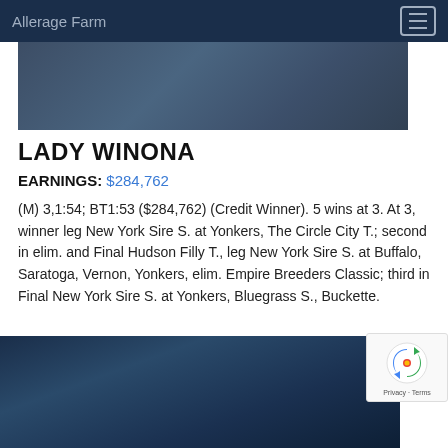Allerage Farm
[Figure (photo): Dark blue banner/hero image area at top of page showing horse-related photo with dark overlay]
LADY WINONA
EARNINGS: $284,762
(M) 3,1:54; BT1:53 ($284,762) (Credit Winner). 5 wins at 3. At 3, winner leg New York Sire S. at Yonkers, The Circle City T.; second in elim. and Final Hudson Filly T., leg New York Sire S. at Buffalo, Saratoga, Vernon, Yonkers, elim. Empire Breeders Classic; third in Final New York Sire S. at Yonkers, Bluegrass S., Buckette.
[Figure (photo): Dark blue banner image at bottom of page showing horse-related photo with dark overlay]
[Figure (other): reCAPTCHA badge showing Google reCAPTCHA logo with Privacy and Terms links]